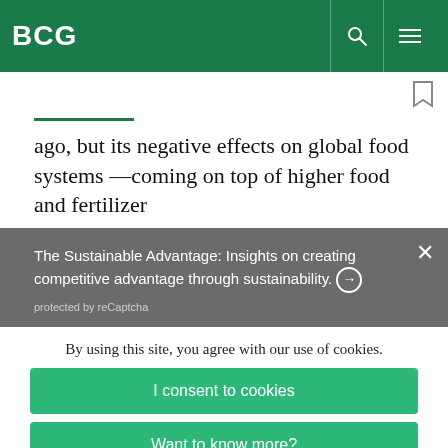BCG
ago, but its negative effects on global food systems —coming on top of higher food and fertilizer
The Sustainable Advantage: Insights on creating competitive advantage through sustainability. → protected by reCaptcha
By using this site, you agree with our use of cookies.
I consent to cookies
Want to know more?
Read our Cookie Policy